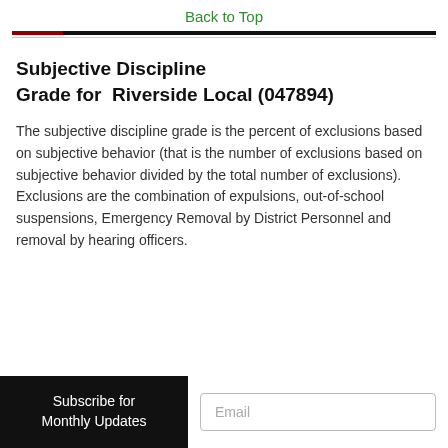Back to Top
Subjective Discipline Grade for Riverside Local (047894)
The subjective discipline grade is the percent of exclusions based on subjective behavior (that is the number of exclusions based on subjective behavior divided by the total number of exclusions). Exclusions are the combination of expulsions, out-of-school suspensions, Emergency Removal by District Personnel and removal by hearing officers.
Subscribe for Monthly Updates
Email